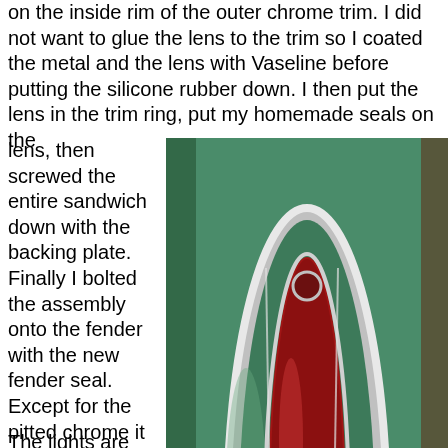on the inside rim of the outer chrome trim. I did not want to glue the lens to the trim so I coated the metal and the lens with Vaseline before putting the silicone rubber down. I then put the lens in the trim ring, put my homemade seals on the lens, then screwed the entire sandwich down with the backing plate. Finally I bolted the assembly onto the fender with the new fender seal. Except for the pitted chrome it looks much better.
[Figure (photo): Close-up photo of a vintage car tail light assembly showing a red lens in a chrome trim ring mounted on a green fender.]
The lights are also much brighter. The brake lights were always very dim. I assumed that was because of the old wiring and 6V system. But when I took it apart I found that the lenses had 63 years worth of dirt and gunk on the back of them. A good cleaning did wonders. I also cleaned the bulbs and